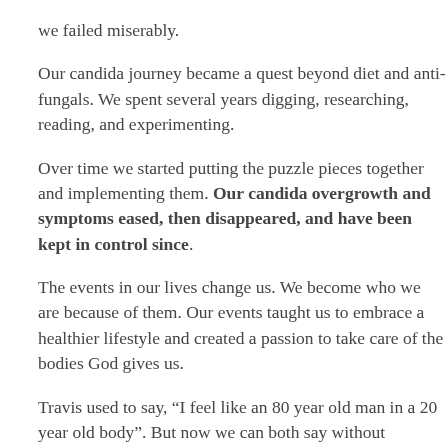we failed miserably.
Our candida journey became a quest beyond diet and anti-fungals. We spent several years digging, researching, reading, and experimenting.
Over time we started putting the puzzle pieces together and implementing them. Our candida overgrowth and symptoms eased, then disappeared, and have been kept in control since.
The events in our lives change us. We become who we are because of them. Our events taught us to embrace a healthier lifestyle and created a passion to take care of the bodies God gives us.
Travis used to say, “I feel like an 80 year old man in a 20 year old body”. But now we can both say without hesitation that we feel better in our 40’s than we ever